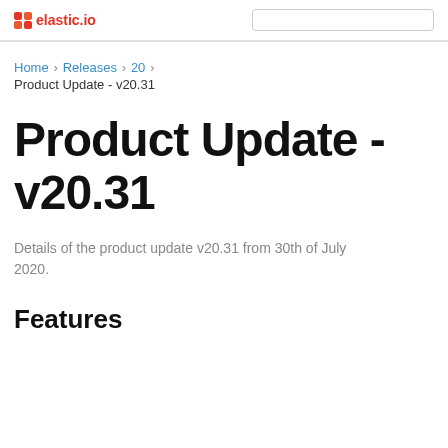elastic.io — Product Update - v20.31
Home > Releases > 20 > Product Update - v20.31
Product Update - v20.31
Details of the product update v20.31 from 30th of July 2020.
Features